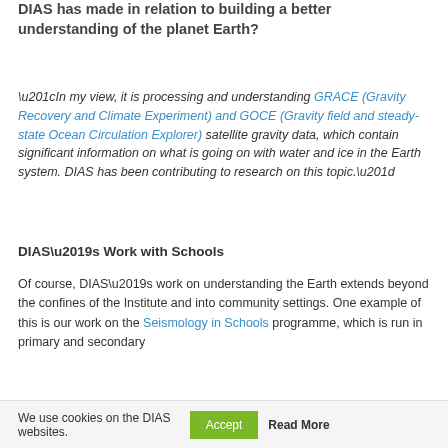DIAS has made in relation to building a better understanding of the planet Earth?
“In my view, it is processing and understanding GRACE (Gravity Recovery and Climate Experiment) and GOCE (Gravity field and steady-state Ocean Circulation Explorer) satellite gravity data, which contain significant information on what is going on with water and ice in the Earth system. DIAS has been contributing to research on this topic.”
DIAS’s Work with Schools
Of course, DIAS’s work on understanding the Earth extends beyond the confines of the Institute and into community settings. One example of this is our work on the Seismology in Schools programme, which is run in primary and secondary
We use cookies on the DIAS websites. Accept Read More